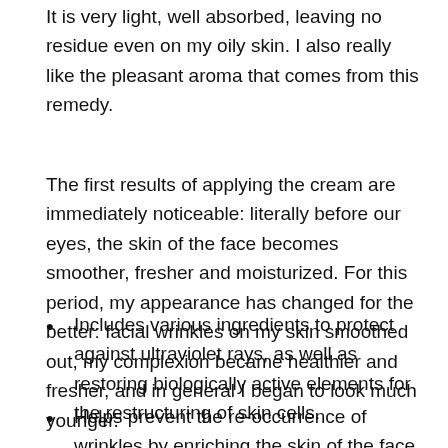It is very light, well absorbed, leaving no residue even on my oily skin. I also really like the pleasant aroma that comes from this remedy.
The first results of applying the cream are immediately noticeable: literally before our eyes, the skin of the face becomes smoother, fresher and moisturized. For this period, my appearance has changed for the better: facial wrinkles on my skin smoothed out, my complexion became healthier and fresher, and in general I began to look much younger.
Includes various ingredients to protect against ultraviolet rays, as well as restoring biologically active elements for the restructuring of skin cells.
Helps prevent the re-occurrence of wrinkles by enriching the skin of the face and neck with a wide